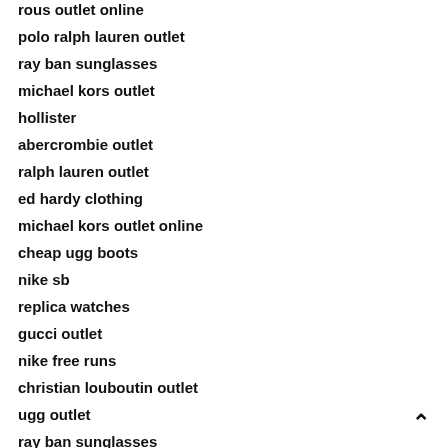rous outlet online
polo ralph lauren outlet
ray ban sunglasses
michael kors outlet
hollister
abercrombie outlet
ralph lauren outlet
ed hardy clothing
michael kors outlet online
cheap ugg boots
nike sb
replica watches
gucci outlet
nike free runs
christian louboutin outlet
ugg outlet
ray ban sunglasses
polo outlet
burberry outlet
coach handbags outlet